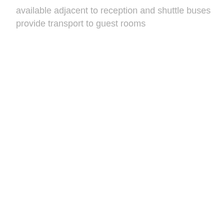available adjacent to reception and shuttle buses provide transport to guest rooms